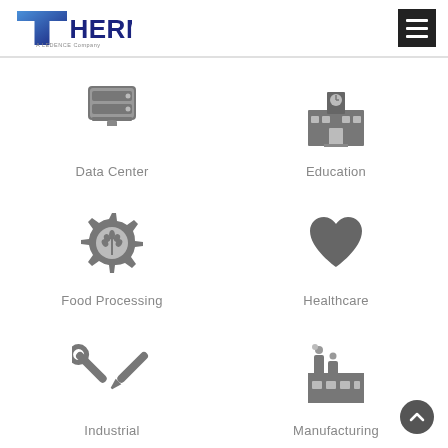[Figure (logo): Therma logo - a Ledence company, blue and dark text]
[Figure (other): Hamburger menu icon (three white lines on black background)]
[Figure (illustration): Data Center icon - server/hard drive stack]
Data Center
[Figure (illustration): Education icon - school building with clock tower]
Education
[Figure (illustration): Food Processing icon - gear with wheat symbol]
Food Processing
[Figure (illustration): Healthcare icon - heart shape]
Healthcare
[Figure (illustration): Industrial icon - wrench and screwdriver crossed]
Industrial
[Figure (illustration): Manufacturing icon - factory building with smokestacks]